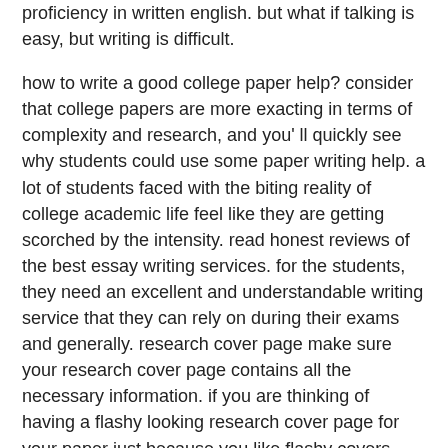proficiency in written english. but what if talking is easy, but writing is difficult.
how to write a good college paper help? consider that college papers are more exacting in terms of complexity and research, and you' ll quickly see why students could use some paper writing help. a lot of students faced with the biting reality of college academic life feel like they are getting scorched by the intensity. read honest reviews of the best essay writing services. for the students, they need an excellent and understandable writing service that they can rely on during their exams and generally. research cover page make sure your research cover page contains all the necessary information. if you are thinking of having a flashy looking research cover page for your paper just because you like flashy covers. hold on for a minute. your paper is sure to go straight out of the window!
in the academic world, making a cover page template requires some rules. in fact, following these guidelines is just as essential as the content within the paper or the document